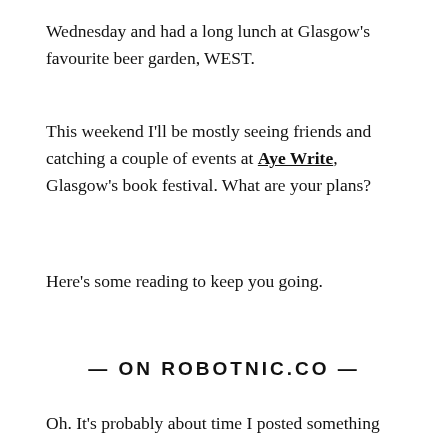Wednesday and had a long lunch at Glasgow's favourite beer garden, WEST.
This weekend I'll be mostly seeing friends and catching a couple of events at Aye Write, Glasgow's book festival. What are your plans?
Here's some reading to keep you going.
— ON ROBOTNIC.CO —
Oh. It's probably about time I posted something